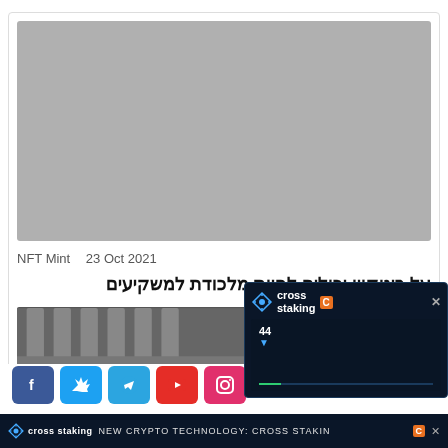[Figure (photo): Gray placeholder image for article thumbnail]
NFT Mint   23 Oct 2021
על ביטקוין יכולים להיות מלכודת למשקיעים
[Figure (photo): Bottom of a building with columns, partially visible]
[Figure (screenshot): Cross Staking popup advertisement overlay with counter 44 and progress bar]
cross staking   NEW CRYPTO TECHNOLOGY: CROSS STAKIN   C   X